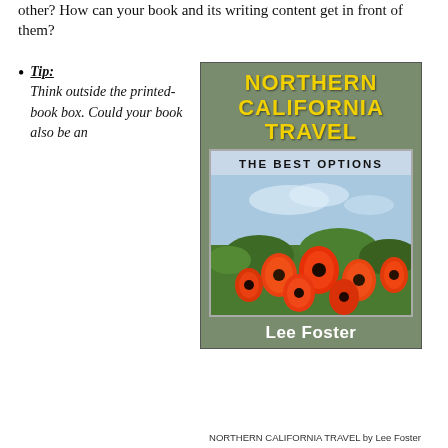other? How can your book and its writing content get in front of them?
Tip: Think outside the printed-book box. Could your book also be an
[Figure (photo): Book cover of 'Northern California Travel: The Best Options' by Lee Foster, with yellow title text on olive/green background and a photo of orange California poppies in the lower portion.]
NORTHERN CALIFORNIA TRAVEL by Lee Foster